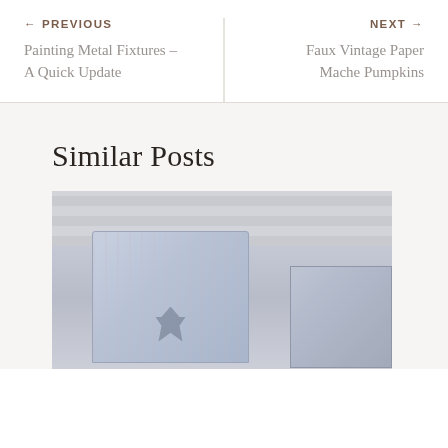← PREVIOUS
Painting Metal Fixtures – A Quick Update
NEXT →
Faux Vintage Paper Mache Pumpkins
Similar Posts
[Figure (photo): Two decorative tin cans with blue/grey floral pattern and fleur-de-lis emblem, against a light grey brick wall background]